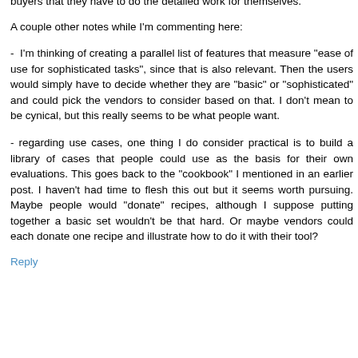buyers that they have to do the detailed work for themselves.
A couple other notes while I'm commenting here:
-  I'm thinking of creating a parallel list of features that measure "ease of use for sophisticated tasks", since that is also relevant. Then the users would simply have to decide whether they are "basic" or "sophisticated" and could pick the vendors to consider based on that. I don't mean to be cynical, but this really seems to be what people want.
- regarding use cases, one thing I do consider practical is to build a library of cases that people could use as the basis for their own evaluations. This goes back to the "cookbook" I mentioned in an earlier post. I haven't had time to flesh this out but it seems worth pursuing. Maybe people would "donate" recipes, although I suppose putting together a basic set wouldn't be that hard. Or maybe vendors could each donate one recipe and illustrate how to do it with their tool?
Reply